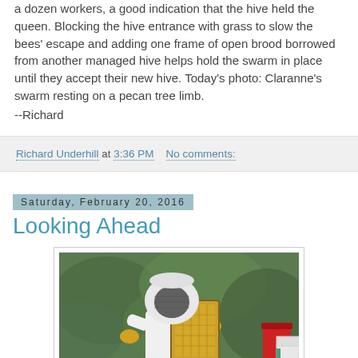a dozen workers, a good indication that the hive held the queen. Blocking the hive entrance with grass to slow the bees' escape and adding one frame of open brood borrowed from another managed hive helps hold the swarm in place until they accept their new hive. Today's photo: Claranne's swarm resting on a pecan tree limb.
--Richard
Richard Underhill at 3:36 PM    No comments:
Saturday, February 20, 2016
Looking Ahead
[Figure (photo): A beekeeper in a white protective suit and veil holding a frame of honeycomb, inspecting it outdoors with green foliage in the background and a red bucket and white hive visible to the right.]